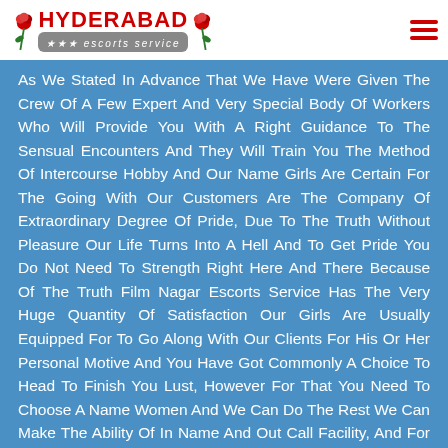HYDERABAD escorts service
As We Stated In Advance That We Have Were Given The Crew Of A Few Expert And Very Special Body Of Workers Who Will Provide You With A Right Guidance To The Sensual Encounters And They Will Train You The Method Of Intercourse Hobby And Our Name Girls Are Certain For The Going With Our Customers Are The Company Of Extraordinary Degree Of Pride, Due To The Truth Without Pleasure Our Life Turns Into A Hell And To Get Pride You Do Not Need To Strength Right Here And There Because Of The Truth Film Nagar Escorts Service Has The Very Huge Quantity Of Satisfaction Our Girls Are Usually Equipped For To Go Along With Our Clients For His Or Her Personal Motive And You Have Got Commonly A Choice To Head To Finish You Lust, However For That You Need To Choose A Name Women And We Can Do The Rest We Can Make The Ability Of In Name And Out Call Facility, And For That We Will Now Not Take Any Greater Prices From Our Clients Because Of The Reality Independent Film Nagar Escorts Is The Maximum Cheap And